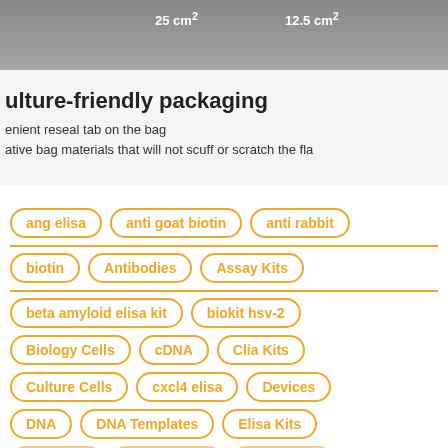[Figure (photo): Photo showing culture flasks labeled 25 cm² and 12.5 cm² against a grey background]
ulture-friendly packaging
enient reseal tab on the bag
ative bag materials that will not scuff or scratch the fla
ang elisa
anti goat biotin
anti rabbit
biotin
Antibodies
Assay Kits
beta amyloid elisa kit
biokit hsv-2
Biology Cells
cDNA
Clia Kits
Culture Cells
cxcl4 elisa
Devices
DNA
DNA Templates
Elisa Kits
Enzymes
Equipments
Exosomes